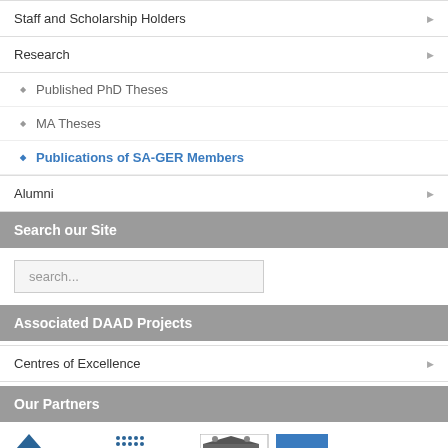Staff and Scholarship Holders
Research
Published PhD Theses
MA Theses
Publications of SA-GER Members
Alumni
Search our Site
search...
Associated DAAD Projects
Centres of Excellence
Our Partners
[Figure (logo): Partner logos: ISR IEE, African Excellence, and other institutional logos]